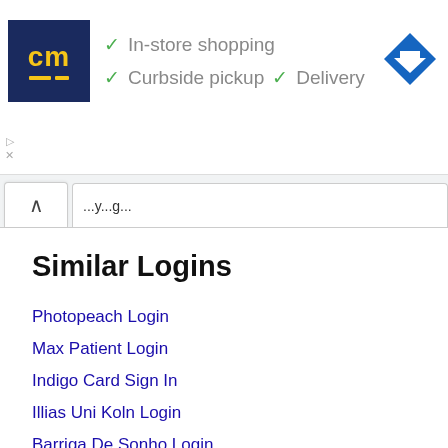[Figure (screenshot): Advertisement banner showing a store logo 'cm' with checkmarks for 'In-store shopping', 'Curbside pickup', and 'Delivery', plus a blue direction arrow icon on the right. Ad controls (play and close buttons) visible on left.]
[Figure (screenshot): Browser tab bar showing a caret/up arrow button on the left and a tab with partial text visible.]
Similar Logins
Photopeach Login
Max Patient Login
Indigo Card Sign In
Illias Uni Koln Login
Barriga De Sonho Login
Eawas Login Page
Chicago Marathon Sign In
Famdoc Portal
A2mac1 Free Login